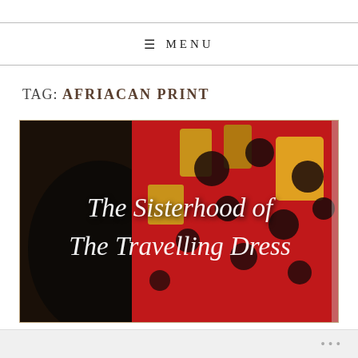≡ MENU
TAG: AFRIACAN PRINT
[Figure (photo): A photograph showing a woman wearing a vibrant African print red and gold dress with dark spots, with text overlay in script font reading 'The Sisterhood of The Travelling Dress']
•••